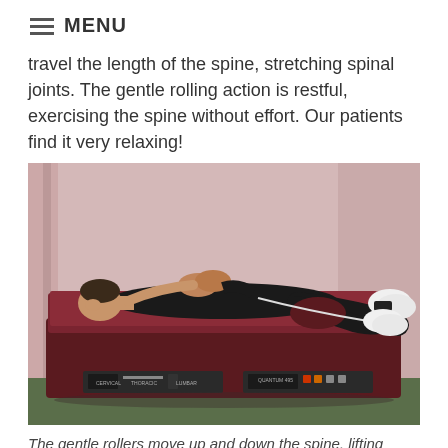MENU
travel the length of the spine, stretching spinal joints. The gentle rolling action is restful, exercising the spine without effort.  Our patients find it very relaxing!
[Figure (photo): A person dressed in black athletic clothing lying on their back on a dark burgundy/maroon chiropractic treatment table. The table has control panels on the front. The room has pink walls and green carpet. The patient has their hands clasped over their chest and is wearing white sneakers.]
The gentle rollers move up and down the spine, lifting